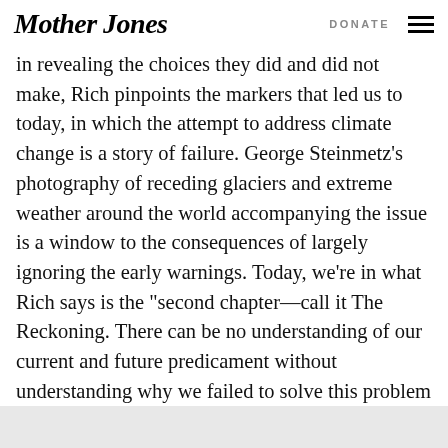Mother Jones | DONATE
in revealing the choices they did and did not make, Rich pinpoints the markers that led us to today, in which the attempt to address climate change is a story of failure. George Steinmetz’s photography of receding glaciers and extreme weather around the world accompanying the issue is a window to the consequences of largely ignoring the early warnings. Today, we’re in what Rich says is the “second chapter—call it The Reckoning. There can be no understanding of our current and future predicament without understanding why we failed to solve this problem when we had the chance.”